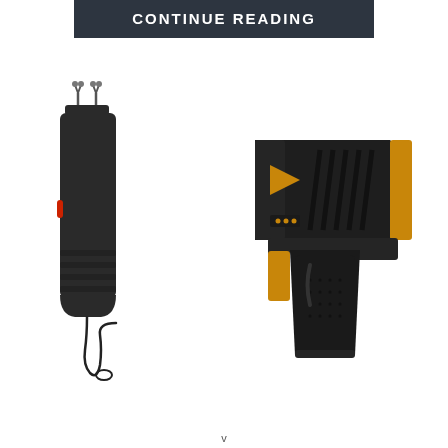CONTINUE READING
[Figure (illustration): Two self-defense weapons illustrated side by side: on the left, a black handheld stun gun/taser device with protruding electrodes at the top, a red button on the side, a ridged grip, and a wrist strap hanging down; on the right, a black and gold compact taser pistol with a gun-like shape, diagonal vent slits on the slide, a triangular orange accent, a trigger guard, and an orange rear accent.]
v